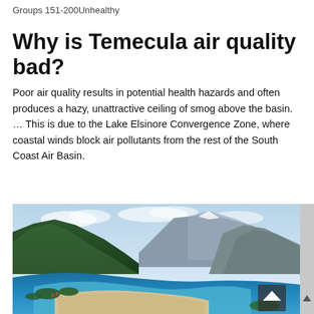Groups 151-200Unhealthy
Why is Temecula air quality bad?
Poor air quality results in potential health hazards and often produces a hazy, unattractive ceiling of smog above the basin. … This is due to the Lake Elsinore Convergence Zone, where coastal winds block air pollutants from the rest of the South Coast Air Basin.
[Figure (photo): Aerial photograph of a coastal bay surrounded by green mountains, with a curved sandy beach and blue water. A small navigation arrow icon appears in the lower right corner of the image.]